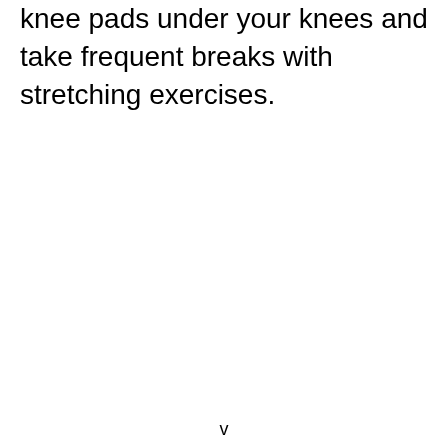knee pads under your knees and take frequent breaks with stretching exercises.
v